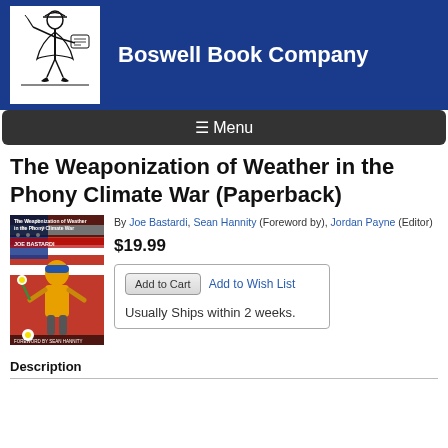[Figure (logo): Boswell Book Company logo: colonial figure illustration in black and white]
Boswell Book Company
≡ Menu
The Weaponization of Weather in the Phony Climate War (Paperback)
[Figure (photo): Book cover of The Weaponization of Weather in the Phony Climate War by Joe Bastardi, showing a man with an American flag background]
By Joe Bastardi, Sean Hannity (Foreword by), Jordan Payne (Editor)
$19.99
Add to Cart   Add to Wish List
Usually Ships within 2 weeks.
Description